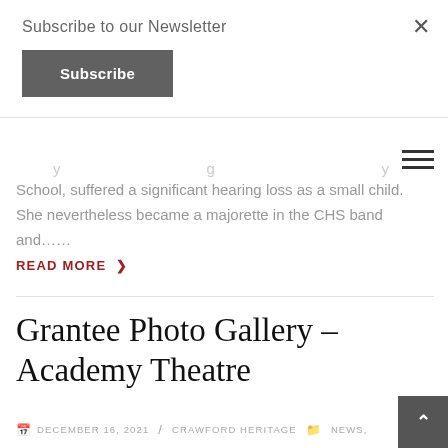Subscribe to our Newsletter
Subscribe
School, suffered a significant hearing loss as a small child. She nevertheless became a majorette in the CHS band and……
READ MORE >
Grantee Photo Gallery – Academy Theatre
DECEMBER 16, 2021  CRAWFORD HERITAGE  NEWS,